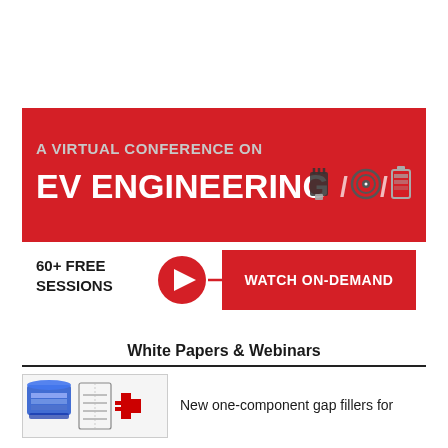[Figure (infographic): Red banner advertisement for 'A Virtual Conference on EV Engineering' with icons for motor, target/wheel, and battery. Below shows '60+ FREE SESSIONS' with a red play button and 'WATCH ON-DEMAND' call to action on white background strip.]
White Papers & Webinars
[Figure (infographic): Thumbnail image with blue box/tray on left, schematic diagram in middle, and red component icon on right, representing a white paper or webinar about gap fillers.]
New one-component gap fillers for